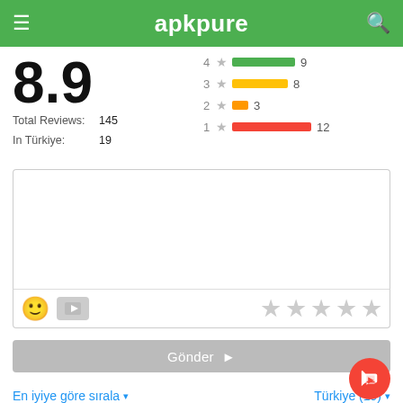apkpure
8.9
Total Reviews: 145
In Türkiye: 19
[Figure (bar-chart): Star rating distribution]
[Figure (other): Review text input box with emoji and video buttons and 5 empty star rating]
Gönder ▶
En iyiye göre sırala ▾
Türkiye (19) ▾
🅢SANDYGIRL069🅢🅢
2019-01-03